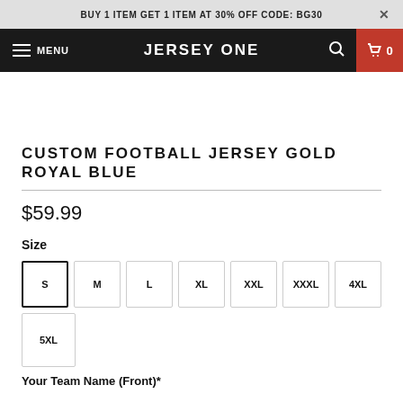BUY 1 ITEM GET 1 ITEM AT 30% OFF CODE: BG30
JERSEY ONE
CUSTOM FOOTBALL JERSEY GOLD ROYAL BLUE
$59.99
Size
S M L XL XXL XXXL 4XL 5XL
Your Team Name (Front)*